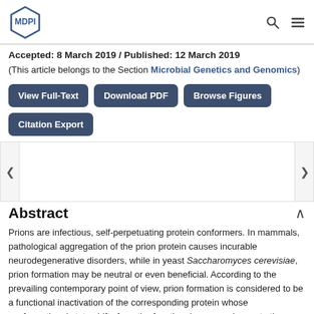MDPI
Accepted: 8 March 2019 / Published: 12 March 2019
(This article belongs to the Section Microbial Genetics and Genomics)
View Full-Text | Download PDF | Browse Figures | Citation Export
Abstract
Prions are infectious, self-perpetuating protein conformers. In mammals, pathological aggregation of the prion protein causes incurable neurodegenerative disorders, while in yeast Saccharomyces cerevisiae, prion formation may be neutral or even beneficial. According to the prevailing contemporary point of view, prion formation is considered to be a functional inactivation of the corresponding protein whose conformational state shifts from the functional monomeric one to the infectious aggregated one. The Swi1 protein from the [SWI+] prion…